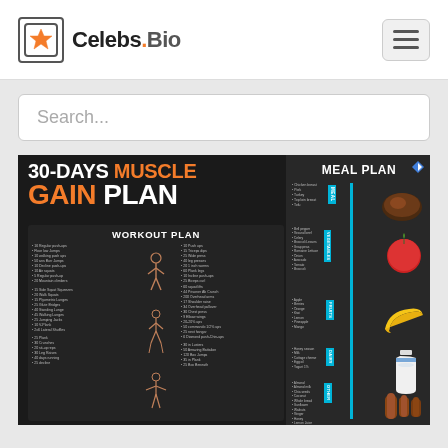Celebs.Bio
Search...
[Figure (infographic): 30-Days Muscle Gain Plan infographic showing a Workout Plan on the left with exercises listed in columns, and a Meal Plan on the right with food categories (Meal, Vegetables, Fruits, Dairy, Other) and food images (meat/steak, apple, banana, milk, cinnamon/spices).]